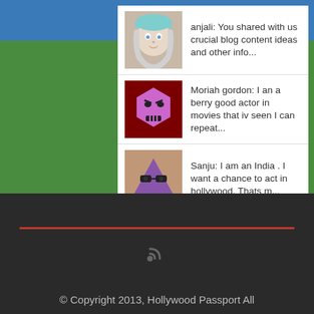anjali: You shared with us crucial blog content ideas and other info...
Moriah gordon: I an a berry good actor in movies that iv seen I can repeat...
Sanju: I am an India . I want a chance to act in hollywood. Thats m...
Editor: Good advice, but puh-leeze learn to spell, or at least how t...
© Copyright 2013, Hollywood Passport All